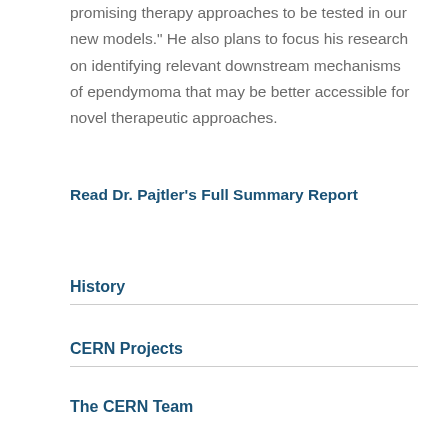promising therapy approaches to be tested in our new models.” He also plans to focus his research on identifying relevant downstream mechanisms of ependymoma that may be better accessible for novel therapeutic approaches.
Read Dr. Pajtler’s Full Summary Report
History
CERN Projects
The CERN Team